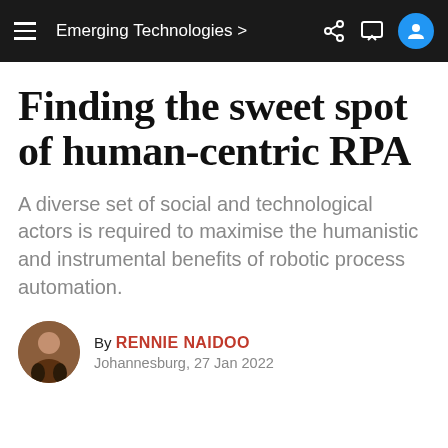Emerging Technologies >
Finding the sweet spot of human-centric RPA
A diverse set of social and technological actors is required to maximise the humanistic and instrumental benefits of robotic process automation.
By Rennie Naidoo
Johannesburg, 27 Jan 2022